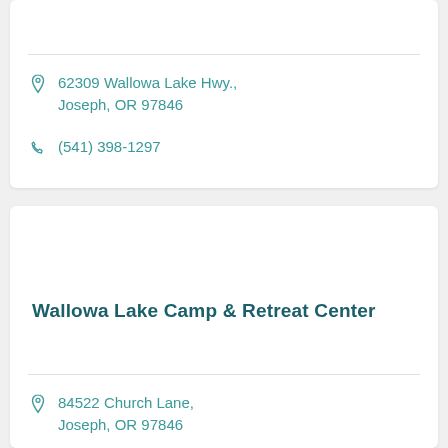62309 Wallowa Lake Hwy., Joseph, OR 97846
(541) 398-1297
Wallowa Lake Camp & Retreat Center
84522 Church Lane, Joseph, OR 97846